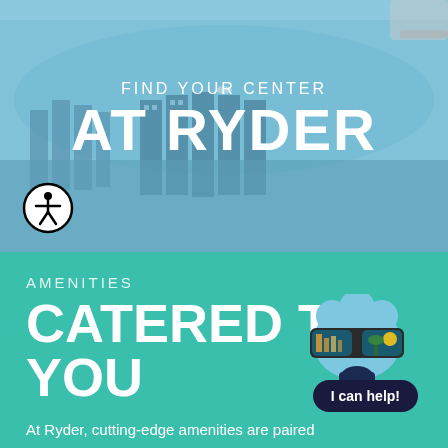[Figure (photo): Aerial/overhead view of a large outdoor swimming pool with blue water, reflecting a multi-story building with windows. Pool has curved edges and a diving board visible at top right.]
FIND YOUR CENTER
AT RYDER
[Figure (illustration): Accessibility icon — a person figure inside a black circle outline]
AMENITIES
CATERED TO YOU
[Figure (illustration): A cartoon smiley face character with large sunglasses, blue cloud-like head, and a small dark blue chin/mouth piece below the glasses. The sunglasses reflect a sunny beach scene.]
I can help!
At Ryder, cutting-edge amenities are paired